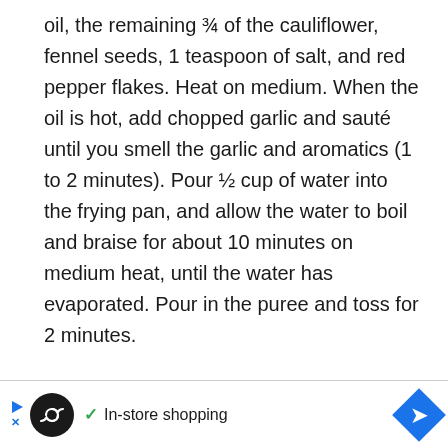oil, the remaining ¾ of the cauliflower, fennel seeds, 1 teaspoon of salt, and red pepper flakes. Heat on medium. When the oil is hot, add chopped garlic and sauté until you smell the garlic and aromatics (1 to 2 minutes). Pour ½ cup of water into the frying pan, and allow the water to boil and braise for about 10 minutes on medium heat, until the water has evaporated. Pour in the puree and toss for 2 minutes.
[Figure (other): Advertisement bar with a circular black logo containing an infinity symbol, a green checkmark, the text 'In-store shopping', and a blue diamond-shaped navigation arrow icon on the right.]